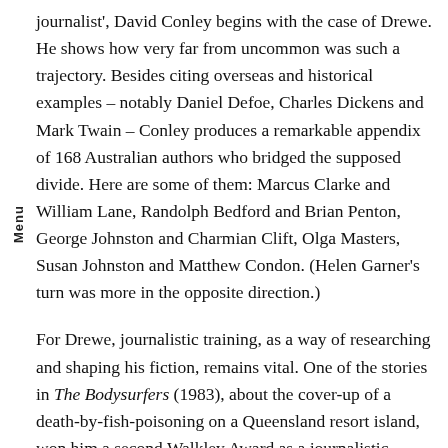journalist', David Conley begins with the case of Drewe. He shows how very far from uncommon was such a trajectory. Besides citing overseas and historical examples – notably Daniel Defoe, Charles Dickens and Mark Twain – Conley produces a remarkable appendix of 168 Australian authors who bridged the supposed divide. Here are some of them: Marcus Clarke and William Lane, Randolph Bedford and Brian Penton, George Johnston and Charmian Clift, Olga Masters, Susan Johnston and Matthew Condon. (Helen Garner's turn was more in the opposite direction.)
For Drewe, journalistic training, as a way of researching and shaping his fiction, remains vital. One of the stories in The Bodysurfers (1983), about the cover-up of a death-by-fish-poisoning on a Queensland resort island, won him a second Walkley Award as a journalistic account published in the Bulletin. A journalist narrates Fortune, about the treasure-hunter, diver and scapegrace, Don